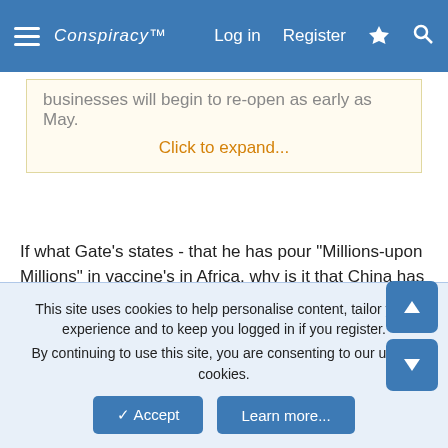Conspiracy™  Log in  Register
businesses will begin to re-open as early as May.
Click to expand...
If what Gate's states - that he has pour "Millions-upon Millions" in vaccine's in Africa, why is it that China has to come to the recuse to donate equipment and supplies? Only for China to get attacked by false allegations?
South Africa coronavirus cases rise to 2,415, China donates equipment
China denies city discriminating against 'African
This site uses cookies to help personalise content, tailor your experience and to keep you logged in if you register. By continuing to use this site, you are consenting to our use of cookies.
Accept   Learn more...